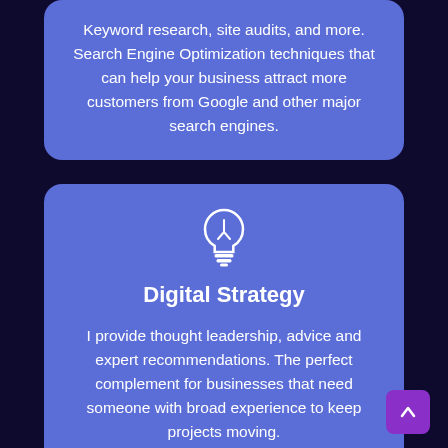Keyword research, site audits, and more. Search Engine Optimization techniques that can help your business attract more customers from Google and other major search engines.
[Figure (illustration): Light bulb icon in white]
Digital Strategy
I provide thought leadership, advice and expert recommendations. The perfect complement for businesses that need someone with broad experience to keep projects moving.